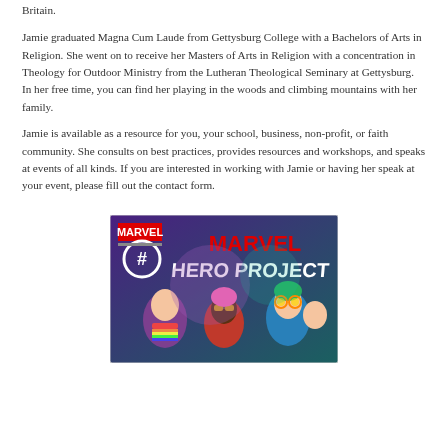Britain.
Jamie graduated Magna Cum Laude from Gettysburg College with a Bachelors of Arts in Religion. She went on to receive her Masters of Arts in Religion with a concentration in Theology for Outdoor Ministry from the Lutheran Theological Seminary at Gettysburg. In her free time, you can find her playing in the woods and climbing mountains with her family.
Jamie is available as a resource for you, your school, business, non-profit, or faith community. She consults on best practices, provides resources and workshops, and speaks at events of all kinds. If you are interested in working with Jamie or having her speak at your event, please fill out the contact form.
[Figure (illustration): Marvel Hero Project promotional image showing illustrated diverse young heroes with rainbow accessories and the Marvel logo and '#' symbol, title reads 'MARVEL HERO PROJECT']